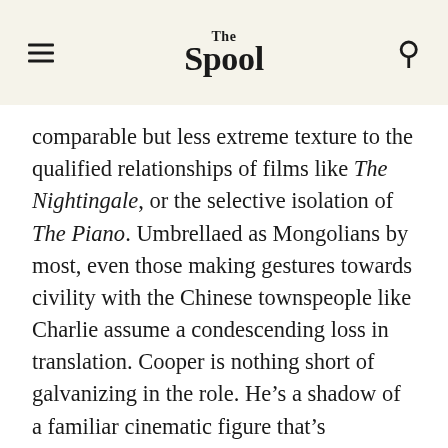The Spool
comparable but less extreme texture to the qualified relationships of films like The Nightingale, or the selective isolation of The Piano. Umbrellaed as Mongolians by most, even those making gestures towards civility with the Chinese townspeople like Charlie assume a condescending loss in translation. Cooper is nothing short of galvanizing in the role. He’s a shadow of a familiar cinematic figure that’s nonetheless sabotaged by his own fragile nobility, a man neutered of the classical romanticism in the process.
But, for the first third, Charlie almost